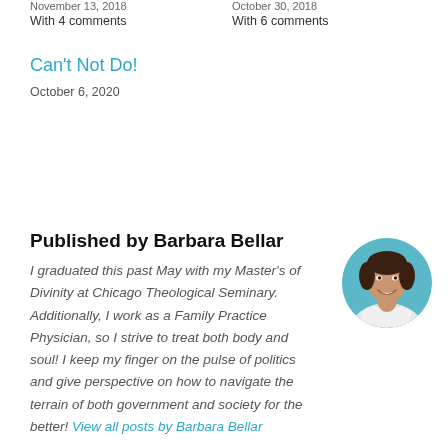With 4 comments
With 6 comments
Can't Not Do!
October 6, 2020
Published by Barbara Bellar
[Figure (photo): Circular portrait photo of Barbara Bellar, a woman in a white coat smiling, with a teal/blue background]
I graduated this past May with my Master's of Divinity at Chicago Theological Seminary. Additionally, I work as a Family Practice Physician, so I strive to treat both body and soul! I keep my finger on the pulse of politics and give perspective on how to navigate the terrain of both government and society for the better! View all posts by Barbara Bellar